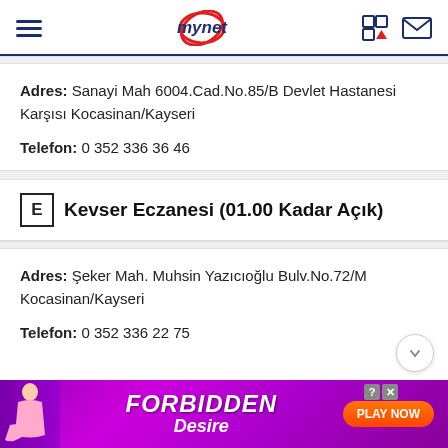mynet
Adres: Sanayi Mah 6004.Cad.No.85/B Devlet Hastanesi Karşısı Kocasinan/Kayseri
Telefon: 0 352 336 36 46
E Kevser Eczanesi (01.00 Kadar Açık)
Adres: Şeker Mah. Muhsin Yazıcıoğlu Bulv.No.72/M Kocasinan/Kayseri
Telefon: 0 352 336 22 75
[Figure (advertisement): FORBIDDEN Desire advertisement banner with PLAY NOW button]